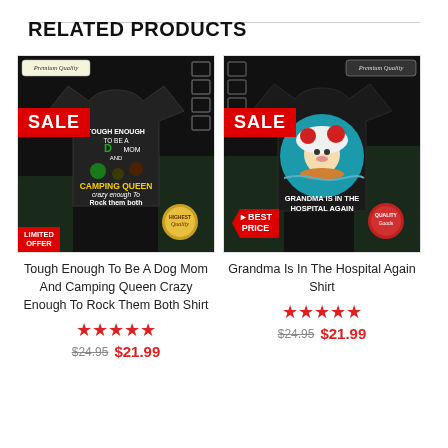RELATED PRODUCTS
[Figure (photo): Black t-shirt with 'Tough Enough To Be A Dog Mom And Camping Queen Crazy Enough To Rock Them Both' design, shown with SALE badge, LIMITED OFFER badge, Premium Quality label, and Highest Quality seal.]
Tough Enough To Be A Dog Mom And Camping Queen Crazy Enough To Rock Them Both Shirt
★★★★½  $24.95  $21.99
[Figure (photo): Black t-shirt with 'Grandma Is In The Hospital Again' design featuring Toad character in a teal circle, shown with SALE badge, BEST PRICE badge, Premium Quality label, and Quality Goods seal.]
Grandma Is In The Hospital Again Shirt
★★★★½  $24.95  $21.99